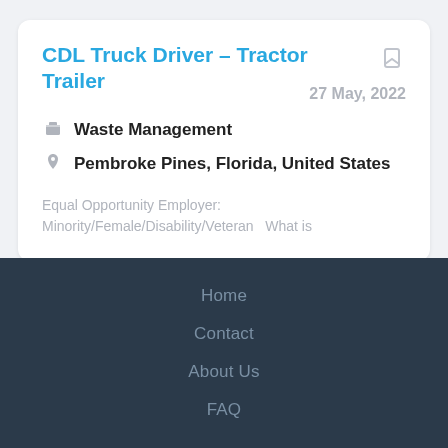CDL Truck Driver - Tractor Trailer
27 May, 2022
Waste Management
Pembroke Pines, Florida, United States
Equal Opportunity Employer: Minority/Female/Disability/Veteran  What is
Home
Contact
About Us
FAQ